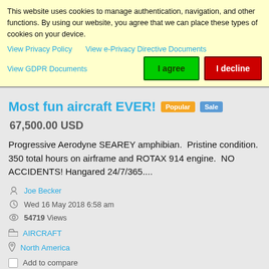This website uses cookies to manage authentication, navigation, and other functions. By using our website, you agree that we can place these types of cookies on your device.
View Privacy Policy   View e-Privacy Directive Documents
View GDPR Documents
I agree
I decline
Most fun aircraft EVER!
67,500.00 USD
Progressive Aerodyne SEAREY amphibian. Pristine condition. 350 total hours on airframe and ROTAX 914 engine. NO ACCIDENTS! Hangared 24/7/365....
Joe Becker
Wed 16 May 2018 6:58 am
54719 Views
AIRCRAFT
North America
Add to compare